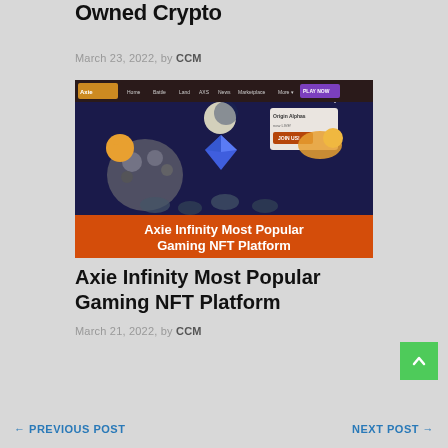Owned Crypto
March 23, 2022, by CCM
[Figure (screenshot): Screenshot of Axie Infinity website showing game characters, navigation bar with Home, Battle, Land, AXS, News, Marketplace, More options, a Play Now button, and an orange banner at the bottom reading 'Axie Infinity Most Popular Gaming NFT Platform']
Axie Infinity Most Popular Gaming NFT Platform
March 21, 2022, by CCM
← PREVIOUS POST     NEXT POST →